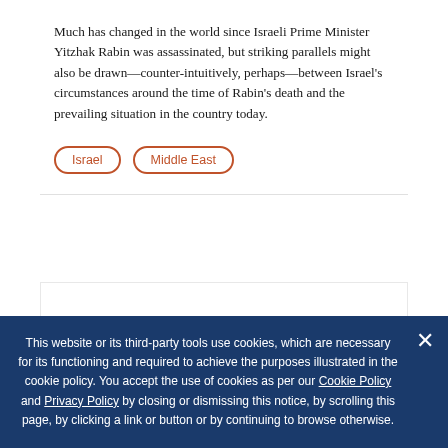Much has changed in the world since Israeli Prime Minister Yitzhak Rabin was assassinated, but striking parallels might also be drawn—counter-intuitively, perhaps—between Israel's circumstances around the time of Rabin's death and the prevailing situation in the country today.
Israel
Middle East
This website or its third-party tools use cookies, which are necessary for its functioning and required to achieve the purposes illustrated in the cookie policy. You accept the use of cookies as per our Cookie Policy and Privacy Policy by closing or dismissing this notice, by scrolling this page, by clicking a link or button or by continuing to browse otherwise.